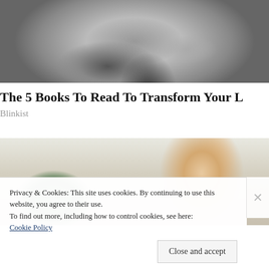[Figure (photo): Black and white close-up photo of a man's face, showing lower half with stubble/beard, cropped at the top]
The 5 Books To Read To Transform Your L
Blinkist
[Figure (photo): Color photo of a blonde woman looking down, with green plants visible in the background]
Privacy & Cookies: This site uses cookies. By continuing to use this website, you agree to their use.
To find out more, including how to control cookies, see here:
Cookie Policy
Close and accept